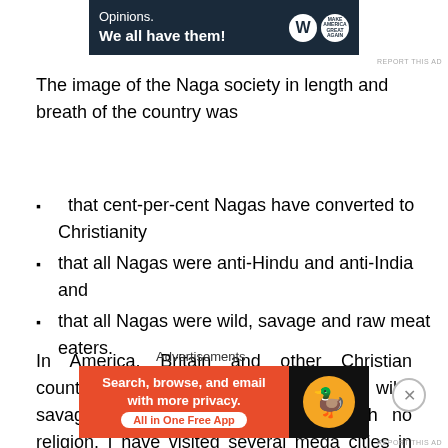[Figure (screenshot): Top advertisement banner with dark navy background showing 'Opinions. We all have them!' with WordPress and another logo]
The image of the Naga society in length and breath of the country was
that cent-per-cent Nagas have converted to Christianity
that all Nagas were anti-Hindu and anti-India and
that all Nagas were wild, savage and raw meat eaters.
In America, Britain and other Christian countries, Nagas were described as wild, savage, naked, head-hunters and with no religion. I have visited several mega cities in the country and have lived with several Hindu families. Whe
Advertisements
[Figure (screenshot): Bottom advertisement for DuckDuckGo: 'Search, browse, and email with more privacy. All in One Free App' on orange background with duck logo on dark background]